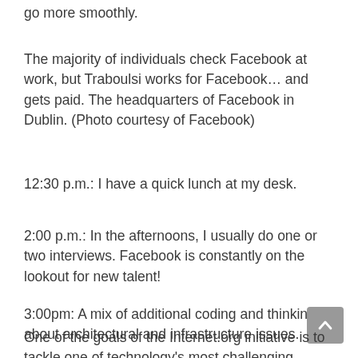go more smoothly.
The majority of individuals check Facebook at work, but Traboulsi works for Facebook… and gets paid. The headquarters of Facebook in Dublin. (Photo courtesy of Facebook)
12:30 p.m.: I have a quick lunch at my desk.
2:00 p.m.: In the afternoons, I usually do one or two interviews. Facebook is constantly on the lookout for new talent!
3:00pm: A mix of additional coding and thinking about architectural and infrastructure issues.
One of the goals of the Internet.org initiative is to tackle one of technology's most challenging